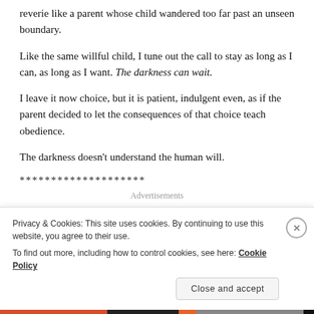reverie like a parent whose child wandered too far past an unseen boundary.
Like the same willful child, I tune out the call to stay as long as I can, as long as I want. The darkness can wait.
I leave it now choice, but it is patient, indulgent even, as if the parent decided to let the consequences of that choice teach obedience.
The darkness doesn't understand the human will.
********************
Advertisements
Privacy & Cookies: This site uses cookies. By continuing to use this website, you agree to their use.
To find out more, including how to control cookies, see here: Cookie Policy
Close and accept